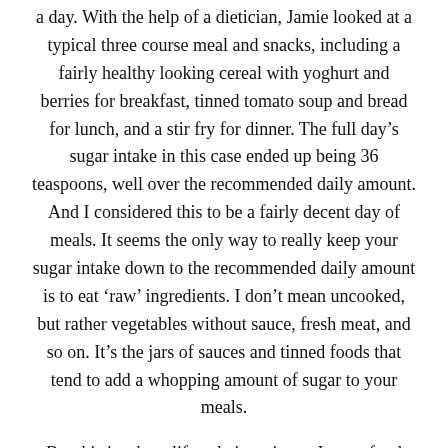a day. With the help of a dietician, Jamie looked at a typical three course meal and snacks, including a fairly healthy looking cereal with yoghurt and berries for breakfast, tinned tomato soup and bread for lunch, and a stir fry for dinner. The full day’s sugar intake in this case ended up being 36 teaspoons, well over the recommended daily amount. And I considered this to be a fairly decent day of meals. It seems the only way to really keep your sugar intake down to the recommended daily amount is to eat ‘raw’ ingredients. I don’t mean uncooked, but rather vegetables without sauce, fresh meat, and so on. It’s the jars of sauces and tinned foods that tend to add a whopping amount of sugar to your meals.
But this is where lifestyle is an issue. I run a food blog and I obviously care about good food, including fresh meat and vegetables. But I also have a very busy work life, and my non working hours are often taken up with